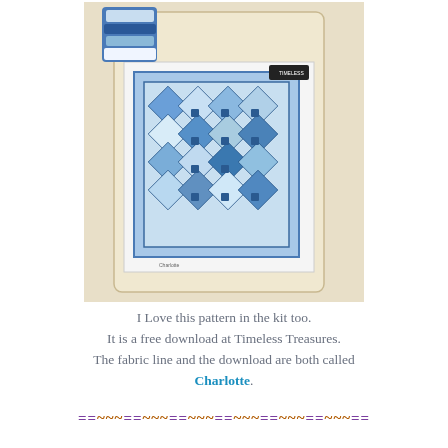[Figure (photo): A blue and white quilt pattern laid out on a table, showing a diamond/square design with various blue fabrics in light and dark shades. A quilt pattern instruction sheet and rolled fabric are visible alongside.]
I Love this pattern in the kit too.
It is a free download at Timeless Treasures.
The fabric line and the download are both called Charlotte.
==~~~==~~~==~~~==~~~==~~~==